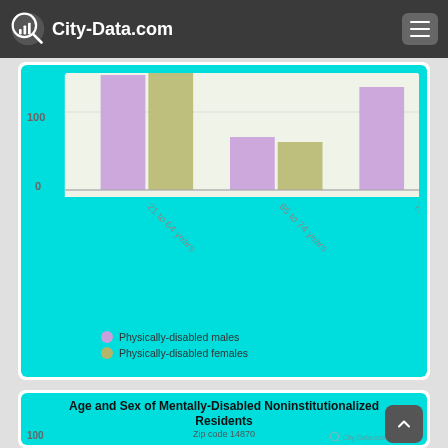City-Data.com
[Figure (grouped-bar-chart): Age and Sex of Physically-Disabled Noninstitutionalized Residents]
Age and Sex of Mentally-Disabled Noninstitutionalized Residents
Zip code 14870